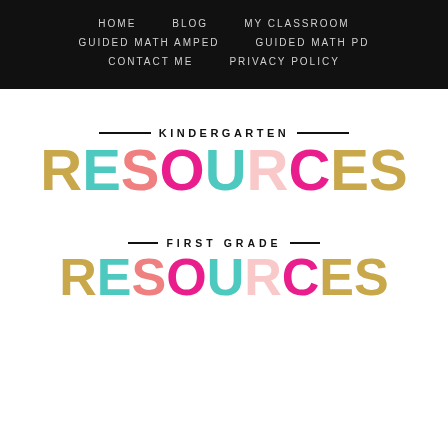HOME   BLOG   MY CLASSROOM   GUIDED MATH AMPED   GUIDED MATH PD   CONTACT ME   PRIVACY POLICY
KINDERGARTEN RESOURCES
FIRST GRADE RESOURCES